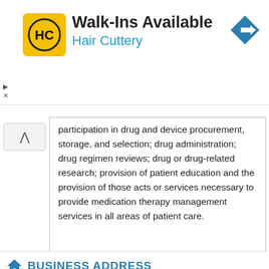[Figure (logo): Hair Cuttery advertisement banner with HC logo on yellow square, Walk-Ins Available text, and blue navigation arrow icon]
participation in drug and device procurement, storage, and selection; drug administration; drug regimen reviews; drug or drug-related research; provision of patient education and the provision of those acts or services necessary to provide medication therapy management services in all areas of patient care.
BUSINESS ADDRESS
SIKHA PATEL
555 E GENESEE ST
LAPEER, MI
ZIP 48446
Phone: (810) 664-8360